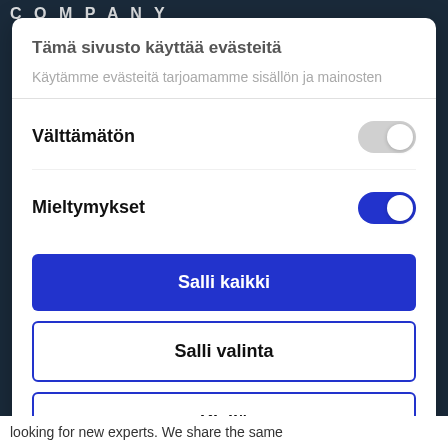COMPANY
Tämä sivusto käyttää evästeitä
Käytämme evästeitä tarjoamamme sisällön ja mainosten
Välttämätön
Mieltymykset
Salli kaikki
Salli valinta
Kiellä
Powered by Cookiebot by Usercentrics
looking for new experts. We share the same